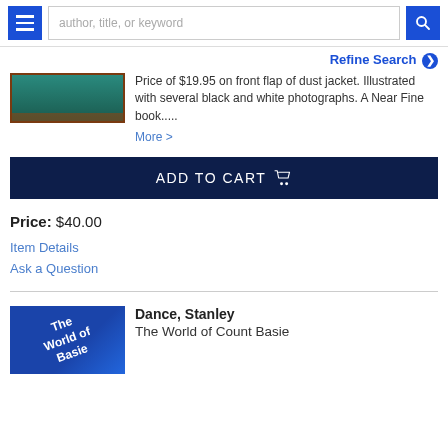[Figure (screenshot): Navigation bar with hamburger menu button, search input placeholder text 'author, title, or keyword', and blue search button]
Refine Search ❯
[Figure (photo): Book cover thumbnail - dark teal/green colored book]
Price of $19.95 on front flap of dust jacket. Illustrated with several black and white photographs. A Near Fine book..... More >
ADD TO CART
Price: $40.00
Item Details
Ask a Question
[Figure (photo): Book cover thumbnail - blue cover with white text 'The World of Count Basie']
Dance, Stanley
The World of Count Basie